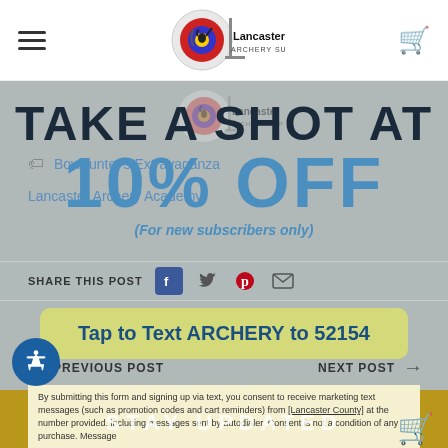[Figure (logo): Lancaster Archery Supply logo - archer silhouette with colorful target, top navigation bar]
[Figure (logo): Lancaster Archery Supply logo repeated, slightly faded]
Bowhunter's Extravaganza
Lancaster Archery Academy
TAKE A SHOT AT 10% OFF
(For new subscribers only)
SHARE THIS POST
Tap to Text ARCHERY to 52154
PREVIOUS POST
NEXT POST
By submitting this form and signing up via text, you consent to receive marketing text messages (such as promotion codes and cart reminders) from [Lancaster County] at the number provided, including messages sent by autodialer. Consent is not a condition of any purchase. Message
STAY UPDATED